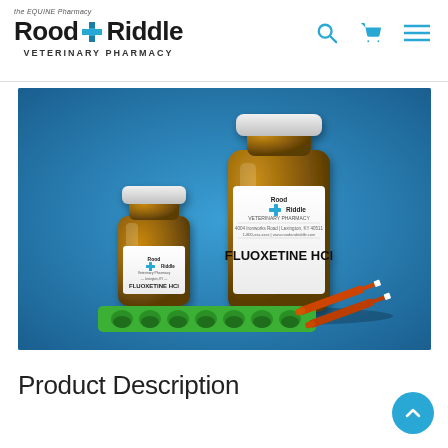the EQUINE Pharmacy Rood & Riddle Veterinary Pharmacy
[Figure (photo): Two amber glass bottles labeled FLUOXETINE HCl from Rood & Riddle Veterinary Pharmacy, a green pill strip organizer, and orange syringes, arranged on a blue background.]
Product Description